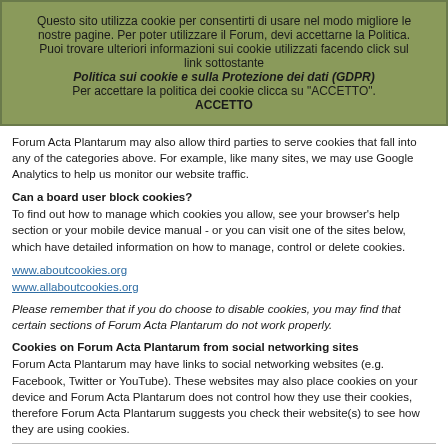Questo sito utilizza cookie per consentirti di usare nel modo migliore le nostre pagine. Per poter utilizzare il Forum, devi accettarne la Politica. Puoi trovare ulteriori informazioni sui cookie utilizzati facendo click sul link sottostante
Politica sui cookie e sulla Protezione dei dati (GDPR)

Per accettare la politica dei cookie clicca su "ACCETTO".

ACCETTO
Forum Acta Plantarum may also allow third parties to serve cookies that fall into any of the categories above. For example, like many sites, we may use Google Analytics to help us monitor our website traffic.
Can a board user block cookies?
To find out how to manage which cookies you allow, see your browser’s help section or your mobile device manual - or you can visit one of the sites below, which have detailed information on how to manage, control or delete cookies.
www.aboutcookies.org
www.allaboutcookies.org
Please remember that if you do choose to disable cookies, you may find that certain sections of Forum Acta Plantarum do not work properly.
Cookies on Forum Acta Plantarum from social networking sites
Forum Acta Plantarum may have links to social networking websites (e.g. Facebook, Twitter or YouTube). These websites may also place cookies on your device and Forum Acta Plantarum does not control how they use their cookies, therefore Forum Acta Plantarum suggests you check their website(s) to see how they are using cookies.
General Data Protection Regulation - 2018 (GDPR)
To comply with the GDPR you need to be made aware that your Forum Acta Plantarum account will, at a bare minimum, contain a uniquely identifiable name (hereinafter “your user name”), a